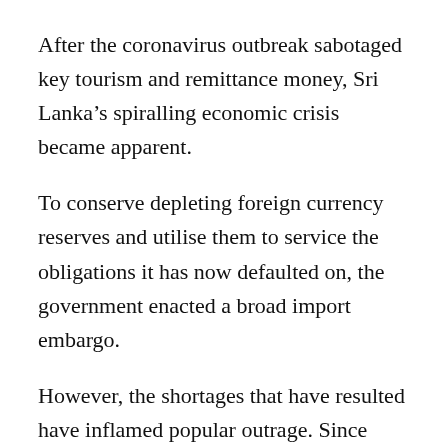After the coronavirus outbreak sabotaged key tourism and remittance money, Sri Lanka’s spiralling economic crisis became apparent.
To conserve depleting foreign currency reserves and utilise them to service the obligations it has now defaulted on, the government enacted a broad import embargo.
However, the shortages that have resulted have inflamed popular outrage. Since March 20, at least eight individuals have died while waiting in fuel lines, with two of the deaths occurring on Monday.
At an anti-government march in Colombo on Monday, protester Vasi Samudra Devi told AFP, “It’s been disheartening to be so afraid of the future and where it’s